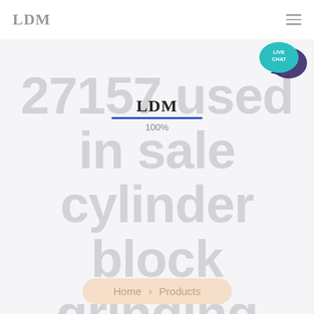LDM
[Figure (illustration): Live chat speech bubble icon with teal background showing 'LIVE CHAT' text and a dark speech bubble behind it]
27157 used in sale cylinder block grinding milling machine
[Figure (logo): LDM logo in bold serif font centered on page with blue underline and '100%' text below]
Home > Products